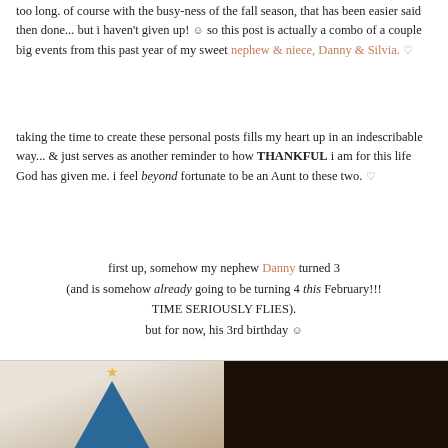too long. of course with the busy-ness of the fall season, that has been easier said then done... but i haven't given up! 🙂 so this post is actually a combo of a couple big events from this past year of my sweet nephew & niece, Danny & Silvia. ♡
taking the time to create these personal posts fills my heart up in an indescribable way... & just serves as another reminder to how THANKFUL i am for this life God has given me. i feel beyond fortunate to be an Aunt to these two. ♡
first up, somehow my nephew Danny turned 3 (and is somehow already going to be turning 4 this February!!! TIME SERIOUSLY FLIES). but for now, his 3rd birthday 🙂
[Figure (photo): Two side-by-side photos at the bottom of the page. Left photo shows a blue party hat with a gold star on a light background. Right photo is dark/dimly lit.]